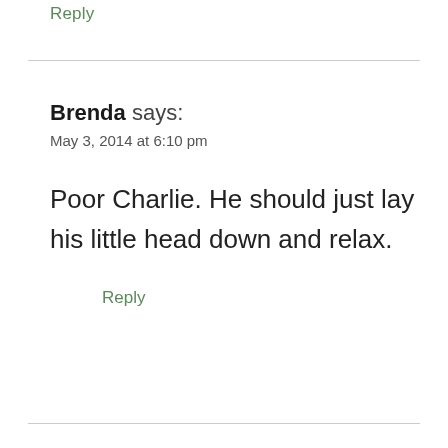Reply
Brenda says:
May 3, 2014 at 6:10 pm
Poor Charlie. He should just lay his little head down and relax.
Reply